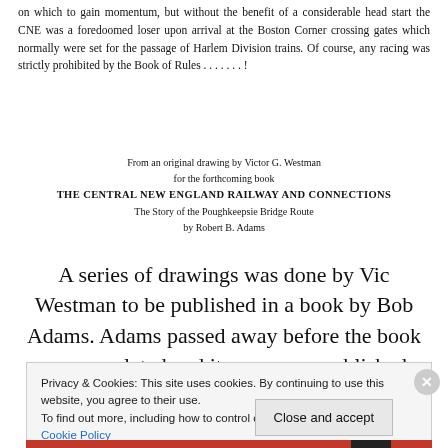on which to gain momentum, but without the benefit of a considerable head start the CNE was a foredoomed loser upon arrival at the Boston Corner crossing gates which normally were set for the passage of Harlem Division trains. Of course, any racing was strictly prohibited by the Book of Rules . . . . . . . !
From an original drawing by Victor G. Westman
for the forthcoming book
THE CENTRAL NEW ENGLAND RAILWAY AND CONNECTIONS
The Story of the Poughkeepsie Bridge Route
by Robert B. Adams
A series of drawings was done by Vic Westman to be published in a book by Bob Adams. Adams passed away before the book was completed and it was never published. Adams made some of the drawings into Christmas cards.
Privacy & Cookies: This site uses cookies. By continuing to use this website, you agree to their use.
To find out more, including how to control cookies, see here:
Cookie Policy
Close and accept